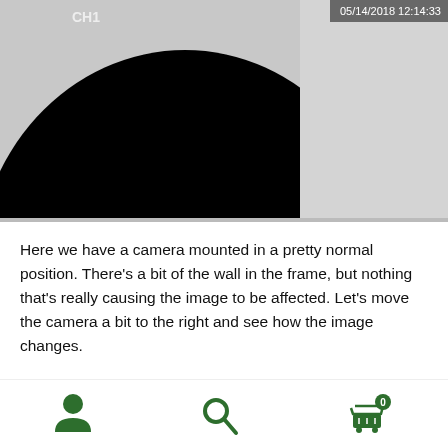[Figure (screenshot): CCTV camera footage showing a black circular lens area on the left and a light grey/white wall area on the right. Overlay text shows 'CH1' top-left and timestamp '05/14/2018 12:14:33' top-center-right.]
Here we have a camera mounted in a pretty normal position. There's a bit of the wall in the frame, but nothing that's really causing the image to be affected. Let's move the camera a bit to the right and see how the image changes.
[Figure (screenshot): CCTV camera footage bottom strip showing 'CH1' label, timestamp '05/14/2018 12:15:51', and an up-arrow icon on the right.]
[Figure (infographic): Bottom navigation bar with three icons: person/user icon (left), search/magnifier icon (center), and shopping cart icon with badge showing '0' (right), all in dark green.]